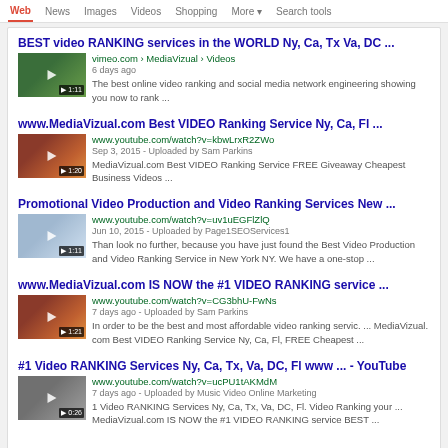Web | News | Images | Videos | Shopping | More | Search tools
BEST video RANKING services in the WORLD Ny, Ca, Tx Va, DC ...
vimeo.com › MediaVizual › Videos
6 days ago
The best online video ranking and social media network engineering showing you now to rank ...
www.MediaVizual.com Best VIDEO Ranking Service Ny, Ca, Fl ...
www.youtube.com/watch?v=kbwLrxR2ZWo
Sep 3, 2015 - Uploaded by Sam Parkins
MediaVizual.com Best VIDEO Ranking Service FREE Giveaway Cheapest Business Videos ...
Promotional Video Production and Video Ranking Services New ...
www.youtube.com/watch?v=uv1uEGFlZlQ
Jun 10, 2015 - Uploaded by Page1SEOServices1
Than look no further, because you have just found the Best Video Production and Video Ranking Service in New York NY. We have a one-stop ...
www.MediaVizual.com IS NOW the #1 VIDEO RANKING service ...
www.youtube.com/watch?v=CG3bhU-FwNs
7 days ago - Uploaded by Sam Parkins
In order to be the best and most affordable video ranking servic. ... MediaVizual. com Best VIDEO Ranking Service Ny, Ca, Fl, FREE Cheapest ...
#1 Video RANKING Services Ny, Ca, Tx, Va, DC, Fl www ... - YouTube
www.youtube.com/watch?v=ucPU1tAKMdM
7 days ago - Uploaded by Music Video Online Marketing
1 Video RANKING Services Ny, Ca, Tx, Va, DC, Fl. Video Ranking your ... MediaVizual.com IS NOW the #1 VIDEO RANKING service BEST ...